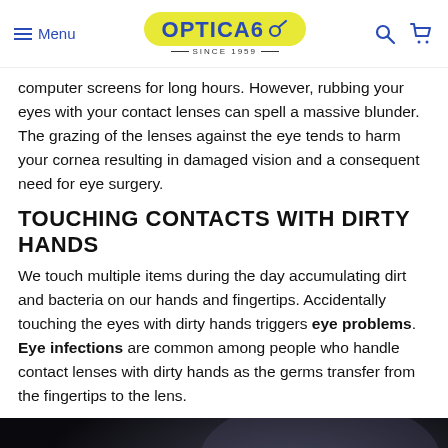Menu | OPTICA6 SINCE 1959
computer screens for long hours. However, rubbing your eyes with your contact lenses can spell a massive blunder. The grazing of the lenses against the eye tends to harm your cornea resulting in damaged vision and a consequent need for eye surgery.
TOUCHING CONTACTS WITH DIRTY HANDS
We touch multiple items during the day accumulating dirt and bacteria on our hands and fingertips. Accidentally touching the eyes with dirty hands triggers eye problems. Eye infections are common among people who handle contact lenses with dirty hands as the germs transfer from the fingertips to the lens.
[Figure (photo): Close-up photo of a contact lens resting on a fingertip, against a dark background with light glare.]